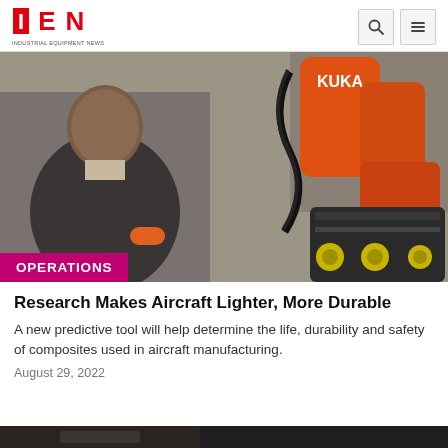IEN INDUSTRIAL EQUIPMENT NEWS
[Figure (photo): A man in a dark suit standing with arms crossed in front of a large orange KUKA industrial robotic arm with specialized end-effector attachment.]
OPERATIONS
Research Makes Aircraft Lighter, More Durable
A new predictive tool will help determine the life, durability and safety of composites used in aircraft manufacturing.
August 29, 2022
[Figure (photo): Partial dark image at bottom of page, partially visible.]